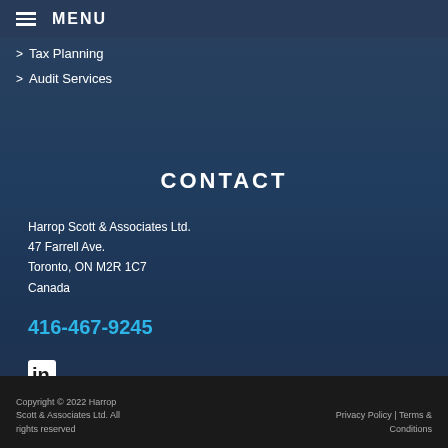MENU
> Tax Planning
> Audit Services
CONTACT
Harrop Scott & Associates Ltd.
47 Farrell Ave.
Toronto, ON M2R 1C7
Canada
416-467-9245
[Figure (logo): LinkedIn 'in' logo icon]
Copyright © 2022 Harrop Scott & Associates Ltd. All rights reserved | Privacy Policy | Terms & Conditions